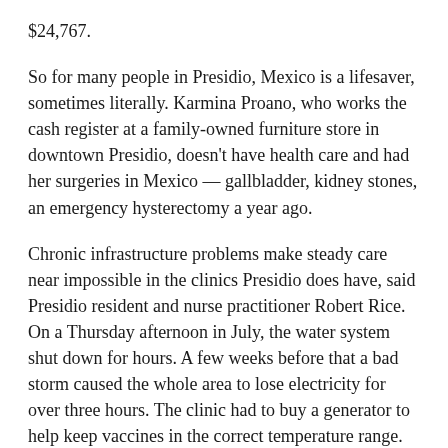$24,767.
So for many people in Presidio, Mexico is a lifesaver, sometimes literally. Karmina Proano, who works the cash register at a family-owned furniture store in downtown Presidio, doesn't have health care and had her surgeries in Mexico — gallbladder, kidney stones, an emergency hysterectomy a year ago.
Chronic infrastructure problems make steady care near impossible in the clinics Presidio does have, said Presidio resident and nurse practitioner Robert Rice. On a Thursday afternoon in July, the water system shut down for hours. A few weeks before that a bad storm caused the whole area to lose electricity for over three hours. The clinic had to buy a generator to help keep vaccines in the correct temperature range.
For emergency medical care, where a long drive in a personal vehicle isn't viable, residents either have to rush across the border to the hospital in Ojinaga or call an ambulance or airlift to Alpine. With only one ambulance, wait times for emergency care are sometimes six to eight hours long, and the city incurs